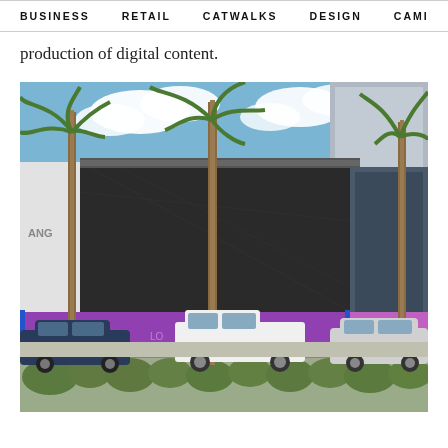BUSINESS   RETAIL   CATWALKS   DESIGN   CAMI >
production of digital content.
[Figure (photo): Exterior photo of a retail building under construction/renovation on what appears to be Rodeo Drive or similar luxury shopping district. The building has a distinctive pink and blue Louis Vuitton branded facade wrap at ground level, with dark construction netting covering upper floors. Several palm trees are in front of the building. Multiple cars including a white pickup truck and a dark sedan are parked in front. Shrubs and landscaping in the foreground.]